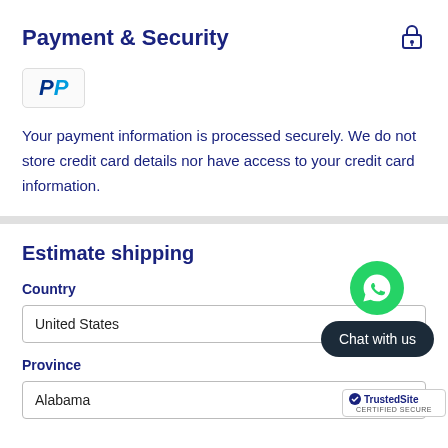Payment & Security
[Figure (logo): PayPal logo mark - blue P icon in a rounded rectangle box]
Your payment information is processed securely. We do not store credit card details nor have access to your credit card information.
Estimate shipping
Country
United States
Province
Alabama
[Figure (illustration): WhatsApp green circle phone icon with Chat with us dark pill button below]
[Figure (logo): TrustedSite Certified Secure badge with blue checkmark]